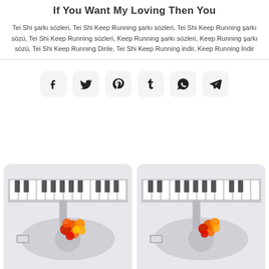If You Want My Loving Then You
Tei Shi şarkı sözleri, Tei Shi Keep Running şarkı sözleri, Tei Shi Keep Running şarkı sözü, Tei Shi Keep Running sözleri, Keep Running şarkı sözleri, Keep Running şarkı sözü, Tei Shi Keep Running Dinle, Tei Shi Keep Running indir, Keep Running İndir
[Figure (infographic): Social media share buttons: Facebook, Twitter, Pinterest, Tumblr, WhatsApp, Telegram]
[Figure (illustration): Music themed illustration showing piano keys and guitar with colorful orange/red/yellow circle decorations]
[Figure (illustration): Second music themed illustration showing piano keys and guitar with colorful orange/red circle decorations, partially visible on right side]